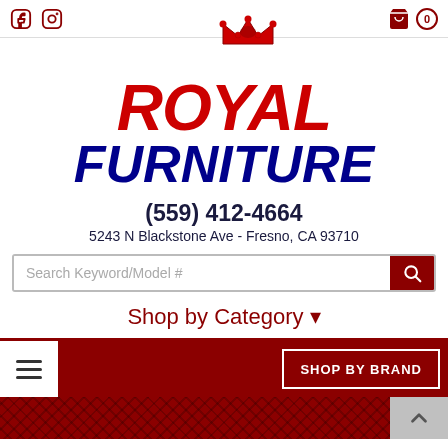[Figure (logo): Royal Furniture store website header with Facebook and Instagram social icons, cart icon with count 0, Royal Furniture logo in red and blue italic text with crown, phone number (559) 412-4664, address 5243 N Blackstone Ave - Fresno, CA 93710, search bar, Shop by Category dropdown, hamburger menu, and SHOP BY BRAND button]
(559) 412-4664
5243 N Blackstone Ave - Fresno, CA 93710
Shop by Category
SHOP BY BRAND